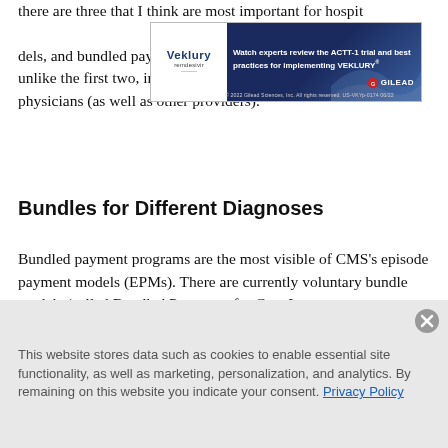there are three that I think are most important for hospitals: global budgets, capitation and global value-based models, and bundled payments. Here, I'll focus on the latter, which unlike the first two, influences payment to both hospitals and physicians (as well as other providers).
[Figure (infographic): Veklury (remdesivir) advertisement banner: 'Watch experts review the ACTT-1 trial and best practices for implementing VEKLURY®' – Gilead branded ad]
Bundles for Different Diagnoses
Bundled payment programs are the most visible of CMS's episode payment models (EPMs). There are currently voluntary bundle models (called Bundled Payments for Care Improvement, or BPCI) across many different diagnoses. And in some locales,
This website stores data such as cookies to enable essential site functionality, as well as marketing, personalization, and analytics. By remaining on this website you indicate your consent. Privacy Policy